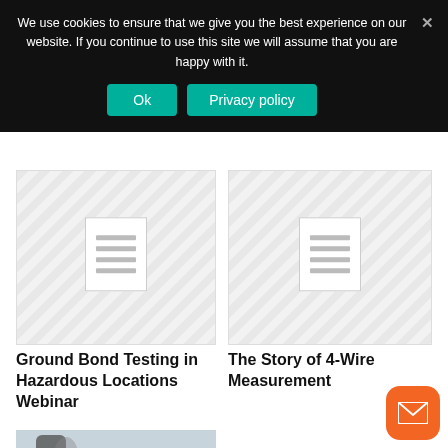We use cookies to ensure that we give you the best experience on our website. If you continue to use this site we will assume that you are happy with it.
[Figure (screenshot): Cookie consent banner with Ok and Privacy policy buttons on dark background]
[Figure (illustration): Document placeholder thumbnail with diagonal stripe pattern and document icon (left card)]
[Figure (illustration): Document placeholder thumbnail with diagonal stripe pattern and document icon (right card)]
Ground Bond Testing in Hazardous Locations Webinar
The Story of 4-Wire Measurement
[Figure (photo): A hand holding a measurement probe/pen tool with yellow cable on green surface]
[Figure (illustration): Orange envelope/email floating action button in bottom right corner]